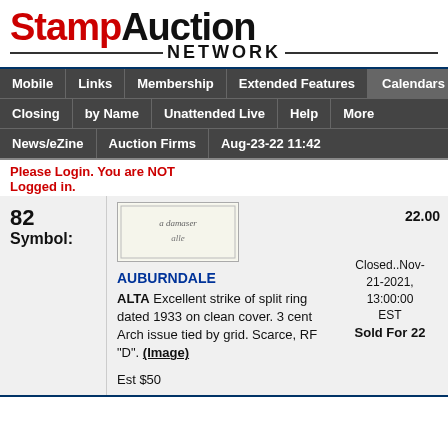[Figure (logo): StampAuction Network logo with red 'Stamp' and black 'Auction' text, with 'NETWORK' centered below with decorative lines]
Mobile | Links | Membership | Extended Features | Calendars | Closing | by Name | Unattended Live | Help | More | News/eZine | Auction Firms | Aug-23-22 11:42
Please Login. You are NOT Logged in.
82
Symbol:
[Figure (photo): Stamp or cover image showing handwritten script text]
AUBURNDALE ALTA Excellent strike of split ring dated 1933 on clean cover. 3 cent Arch issue tied by grid. Scarce, RF "D". (Image)

Est $50
22.00
Closed..Nov-21-2021, 13:00:00 EST
Sold For 22